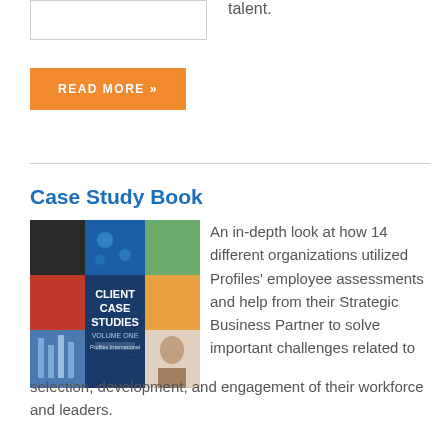talent.
READ MORE »
Case Study Book
[Figure (photo): Book cover for 'Client Case Studies Volume One' by Profiles International, with collage of business-related images in blue and orange tones]
An in-depth look at how 14 different organizations utilized Profiles' employee assessments and help from their Strategic Business Partner to solve important challenges related to selection, development, and engagement of their workforce and leaders.